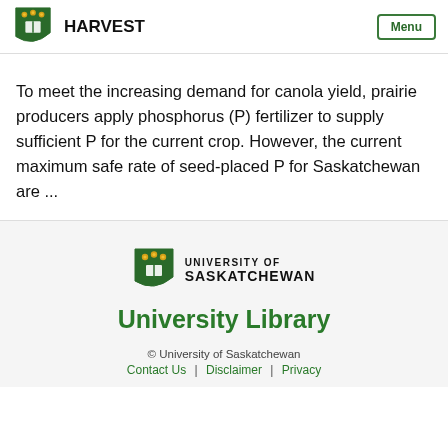HARVEST Menu
To meet the increasing demand for canola yield, prairie producers apply phosphorus (P) fertilizer to supply sufficient P for the current crop. However, the current maximum safe rate of seed-placed P for Saskatchewan are ...
[Figure (logo): University of Saskatchewan shield logo with UNIVERSITY OF SASKATCHEWAN text]
University Library
© University of Saskatchewan | Contact Us | Disclaimer | Privacy